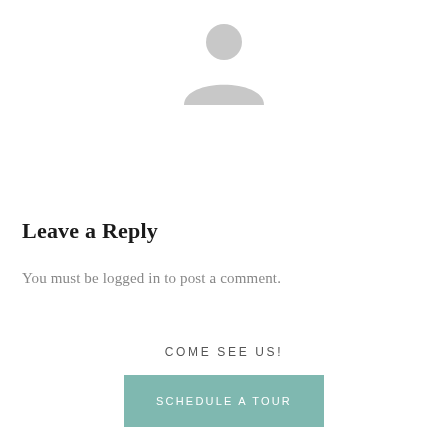[Figure (illustration): Gray generic user avatar silhouette icon centered at top of page]
Leave a Reply
You must be logged in to post a comment.
COME SEE US!
SCHEDULE A TOUR